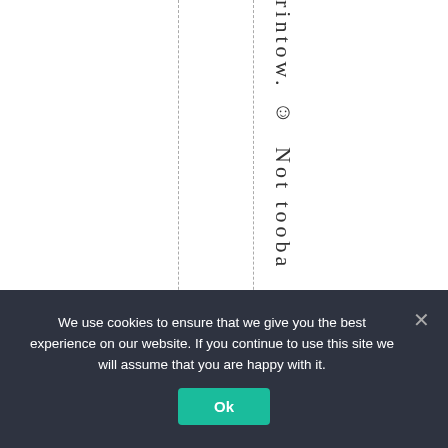rintow. ☺ Not tooba
We use cookies to ensure that we give you the best experience on our website. If you continue to use this site we will assume that you are happy with it. Ok